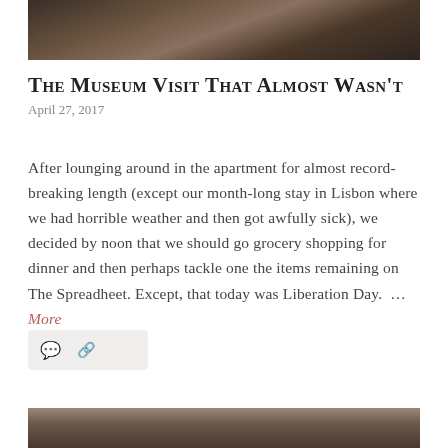[Figure (photo): Top portion of a bronze sculpture, cropped, showing dark metallic figures against a warm stone background.]
The Museum Visit That Almost Wasn't
April 27, 2017
After lounging around in the apartment for almost record-breaking length (except our month-long stay in Lisbon where we had horrible weather and then got awfully sick), we decided by noon that we should go grocery shopping for dinner and then perhaps tackle one the items remaining on The Spreadheet. Except, that today was Liberation Day. … More
[Figure (other): Meta bar with comment and share icons on a light grey rounded rectangle background.]
[Figure (photo): Bottom partial image of another photograph, showing warm brown tones, partially visible at the bottom of the page.]